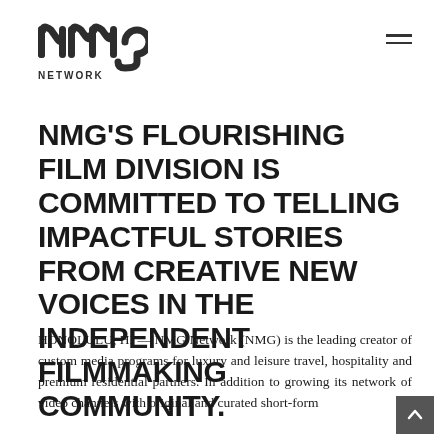[Figure (logo): NMG Network logo — stylized lowercase 'nmg' with 'NETWORK' text beneath, in dark gray]
NMG'S FLOURISHING FILM DIVISION IS COMMITTED TO TELLING IMPACTFUL STORIES FROM CREATIVE NEW VOICES IN THE INDEPENDENT FILMMAKING COMMUNITY.
HONOLULU, HI — NMG Network (NMG) is the leading creator of custom media programs for luxury and leisure travel, hospitality and premium residential partners. In addition to growing its network of video channels with original and curated short-form